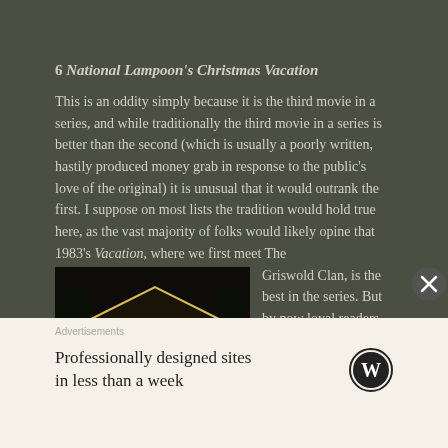6 National Lampoon's Christmas Vacation
This is an oddity simply because it is the third movie in a series, and while traditionally the third movie in a series is better than the second (which is usually a poorly written, hastily produced money grab in response to the public's love of the original) it is unusual that it would outrank the first. I suppose on most lists the tradition would hold true here, as the vast majority of folks would likely opine that 1983's Vacation, where we first meet The Griswold Clan, is the best in the series. But by now loyal readers know
[Figure (photo): A house covered in Christmas lights at night, from National Lampoon's Christmas Vacation]
Advertisements
Professionally designed sites in less than a week